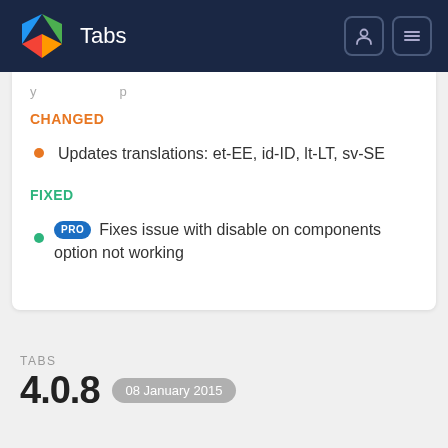Tabs
CHANGED
Updates translations: et-EE, id-ID, lt-LT, sv-SE
FIXED
PRO Fixes issue with disable on components option not working
TABS
4.0.8
08 January 2015